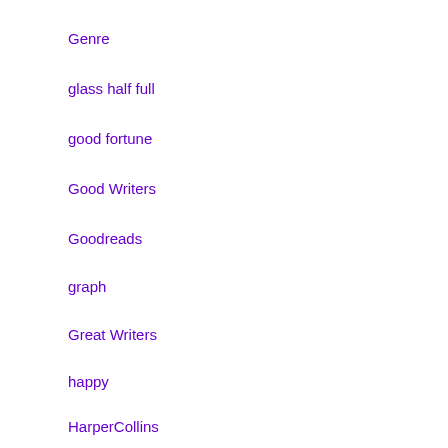Genre
glass half full
good fortune
Good Writers
Goodreads
graph
Great Writers
happy
HarperCollins
haunted